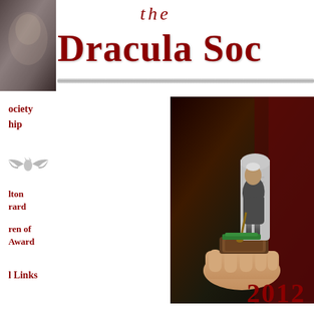the Dracula Soc
ociety
hip
lton
rard
ren of
Award
l Links
[Figure (photo): A hand holding a small figurine of a hunched elderly man with a cane, standing next to a gravestone, on a wooden base — appears to be an award trophy for the Dracula Society]
2012